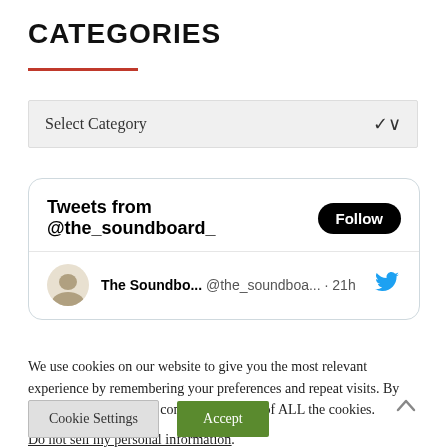CATEGORIES
Select Category
[Figure (screenshot): Twitter/X widget showing 'Tweets from @the_soundboard_' with a Follow button and a tweet row showing 'The Soundbo... @the_soundboa... · 21h' with Twitter bird icon]
We use cookies on our website to give you the most relevant experience by remembering your preferences and repeat visits. By clicking “Accept”, you consent to the use of ALL the cookies.
Do not sell my personal information.
Cookie Settings
Accept